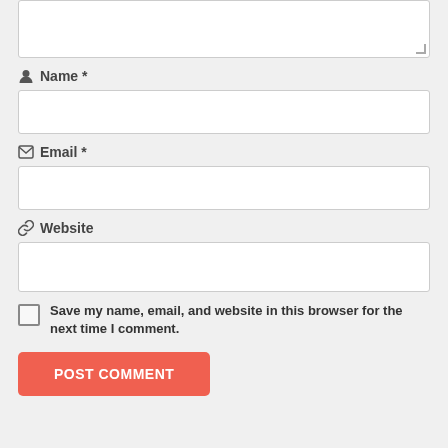[Figure (screenshot): Textarea input box (top, partially visible) with resize handle at bottom right]
🧑 Name *
[Figure (screenshot): Name text input field box]
✉ Email *
[Figure (screenshot): Email text input field box]
🔗 Website
[Figure (screenshot): Website text input field box]
Save my name, email, and website in this browser for the next time I comment.
[Figure (screenshot): POST COMMENT button in coral/salmon color]